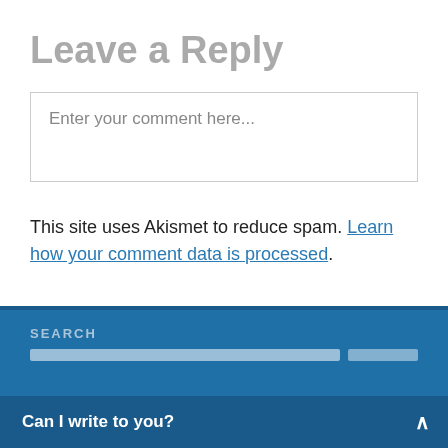Leave a Reply
Enter your comment here...
This site uses Akismet to reduce spam. Learn how your comment data is processed.
SEARCH
Can I write to you?